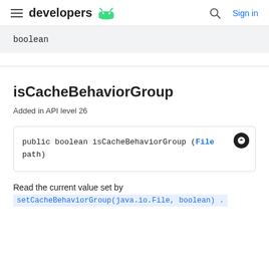developers [Android logo] | Search | Sign in
boolean
isCacheBehaviorGroup
Added in API level 26
public boolean isCacheBehaviorGroup (File path)
Read the current value set by setCacheBehaviorGroup(java.io.File, boolean).